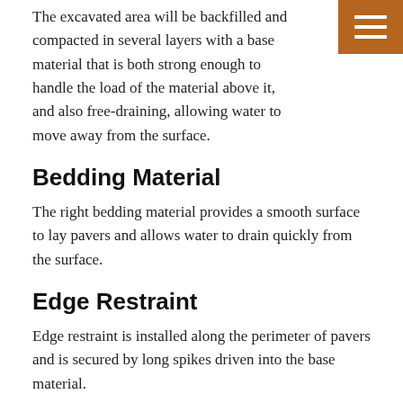The excavated area will be backfilled and compacted in several layers with a base material that is both strong enough to handle the load of the material above it, and also free-draining, allowing water to move away from the surface.
Bedding Material
The right bedding material provides a smooth surface to lay pavers and allows water to drain quickly from the surface.
Edge Restraint
Edge restraint is installed along the perimeter of pavers and is secured by long spikes driven into the base material.
Joint Material
The right joint material locks the pavers into place and keeps the joints clean and weed-free for years to come.
We only work with the leading manufacturers of paver products, to ensure that our installations stand up to the test